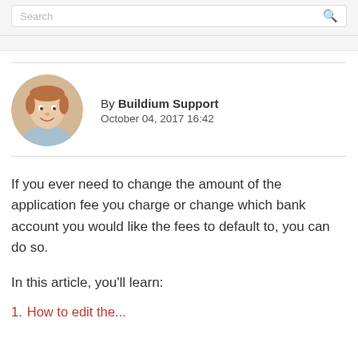Search
[Figure (photo): Headshot photo of a smiling man with reddish-brown hair wearing a light blue shirt]
By Buildium Support
October 04, 2017 16:42
If you ever need to change the amount of the application fee you charge or change which bank account you would like the fees to default to, you can do so.
In this article, you'll learn:
1. How to edit the...